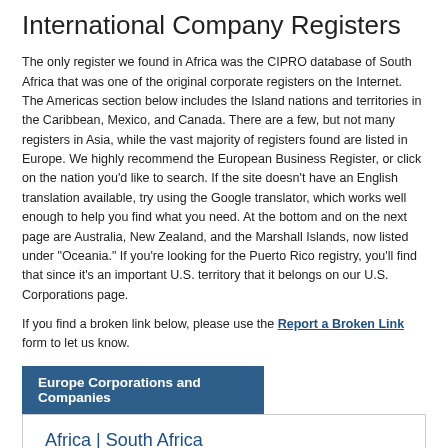International Company Registers
The only register we found in Africa was the CIPRO database of South Africa that was one of the original corporate registers on the Internet.  The Americas section below includes the Island nations and territories in the Caribbean, Mexico, and Canada.  There are a few, but not many registers in Asia, while the vast majority of registers found are listed in Europe.  We highly recommend the European Business Register, or click on the nation you'd like to search.  If the site doesn't have an English translation available, try using the Google translator, which works well enough to help you find what you need.  At the bottom and on the next page are Australia, New Zealand, and the Marshall Islands, now listed under "Oceania."  If you're looking for the Puerto Rico registry, you'll find that since it's an important U.S. territory that it belongs on our U.S. Corporations page.
If you find a broken link below, please use the Report a Broken Link form to let us know.
Europe Corporations and Companies
Africa | South Africa